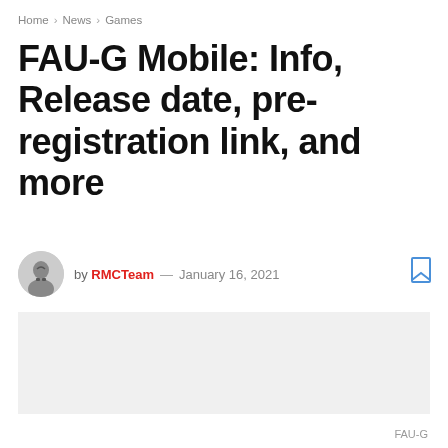Home > News > Games
FAU-G Mobile: Info, Release date, pre-registration link, and more
by RMCTeam — January 16, 2021
[Figure (photo): Gray placeholder image block for FAU-G article]
FAU-G